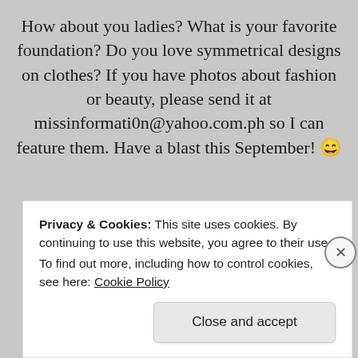How about you ladies? What is your favorite foundation? Do you love symmetrical designs on clothes? If you have photos about fashion or beauty, please send it at missinformati0n@yahoo.com.ph so I can feature them. Have a blast this September! 😄
Advertisements
Privacy & Cookies: This site uses cookies. By continuing to use this website, you agree to their use.
To find out more, including how to control cookies, see here: Cookie Policy